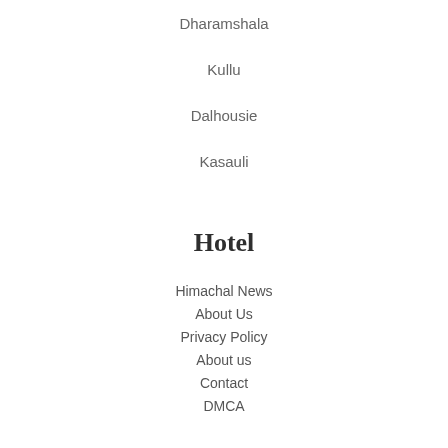Dharamshala
Kullu
Dalhousie
Kasauli
Hotel
Himachal News
About Us
Privacy Policy
About us
Contact
DMCA